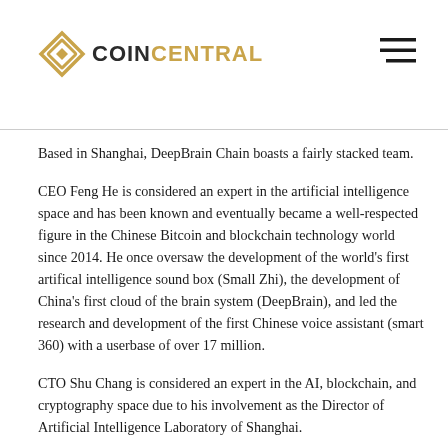COIN CENTRAL
Based in Shanghai, DeepBrain Chain boasts a fairly stacked team.
CEO Feng He is considered an expert in the artificial intelligence space and has been known and eventually became a well-respected figure in the Chinese Bitcoin and blockchain technology world since 2014. He once oversaw the development of the world's first artifical intelligence sound box (Small Zhi), the development of China's first cloud of the brain system (DeepBrain), and led the research and development of the first Chinese voice assistant (smart 360) with a userbase of over 17 million.
CTO Shu Chang is considered an expert in the AI, blockchain, and cryptography space due to his involvement as the Director of Artificial Intelligence Laboratory of Shanghai.
CMO Chuanfeng Lee is one of the first of a batch of entrepreneurs in the AI space in China, Bitcoin, and blockchain research. He also led the marketing for smart 360 and helped the project get to a userbase of over 17 million.
Some of the team's notable accolades including winning first place in the enterprise sector of SMP2017, a Chinese man-